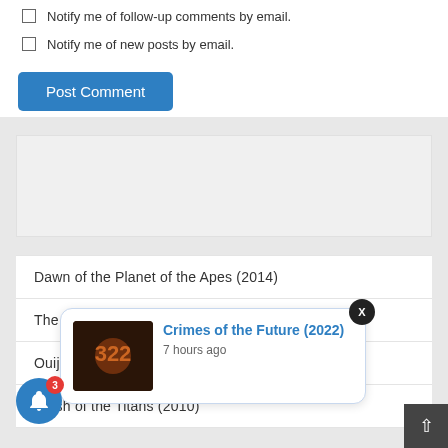Notify me of follow-up comments by email.
Notify me of new posts by email.
Post Comment
[Figure (other): Advertisement or empty content box]
Dawn of the Planet of the Apes (2014)
The Exorcist (1972)
Ouija
Clash of the Titans (2010)
[Figure (other): Notification popup showing movie poster for Crimes of the Future (2022) with text '7 hours ago']